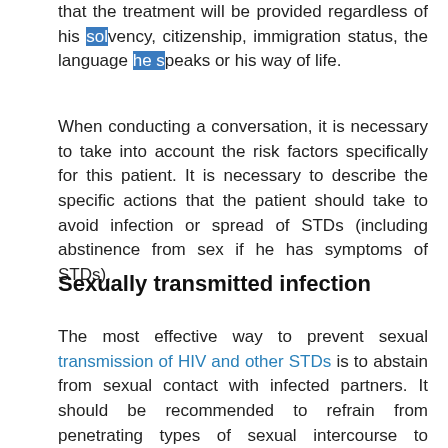that the treatment will be provided regardless of his solvency, citizenship, immigration status, the language he speaks or his way of life.
When conducting a conversation, it is necessary to take into account the risk factors specifically for this patient. It is necessary to describe the specific actions that the patient should take to avoid infection or spread of STDs (including abstinence from sex if he has symptoms of STDs).
Sexually transmitted infection
The most effective way to prevent sexual transmission of HIV and other STDs is to abstain from sexual contact with infected partners. It should be recommended to refrain from penetrating types of sexual intercourse to persons who are treated for STDs or whose partners are treated for STDs, as well as to persons who want to avoid the consequences of sexual intercourse (ie,